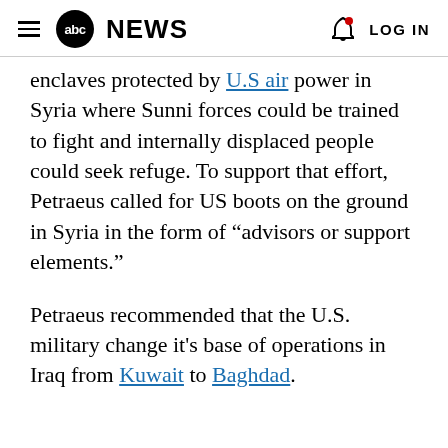abc NEWS  LOG IN
enclaves protected by U.S air power in Syria where Sunni forces could be trained to fight and internally displaced people could seek refuge. To support that effort, Petraeus called for US boots on the ground in Syria in the form of “advisors or support elements.”
Petraeus recommended that the U.S. military change it's base of operations in Iraq from Kuwait to Baghdad.